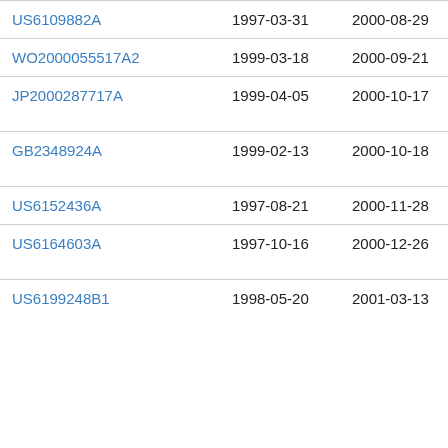| Patent | Filing Date | Publication Date | Assignee |
| --- | --- | --- | --- |
| US6109882A | 1997-03-31 | 2000-08-29 | Pop… |
| WO2000055517A2 | 1999-03-18 | 2000-09-21 | Aes… |
| JP2000287717A | 1999-04-05 | 2000-10-17 | Min… Mf… |
| GB2348924A | 1999-02-13 | 2000-10-18 | Atk… Ltd |
| US6152436A | 1997-08-21 | 2000-11-28 | Me… |
| US6164603A | 1997-10-16 | 2000-12-26 | Kita… Co. |
| US6199248B1 | 1998-05-20 | 2001-03-13 | Ykh… |